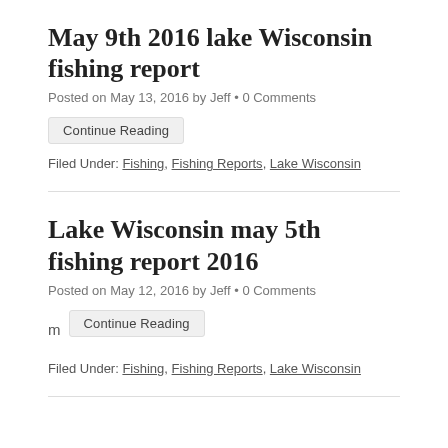May 9th 2016 lake Wisconsin fishing report
Posted on May 13, 2016 by Jeff • 0 Comments
Continue Reading
Filed Under: Fishing, Fishing Reports, Lake Wisconsin
Lake Wisconsin may 5th fishing report 2016
Posted on May 12, 2016 by Jeff • 0 Comments
m Continue Reading
Filed Under: Fishing, Fishing Reports, Lake Wisconsin